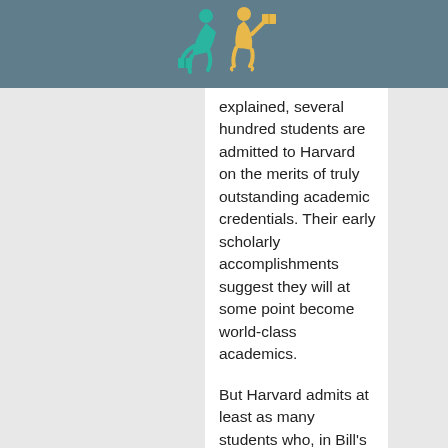[Figure (logo): Two stylized figures reading books — one teal/green and one yellow/gold — against a dark teal header bar]
explained, several hundred students are admitted to Harvard on the merits of truly outstanding academic credentials. Their early scholarly accomplishments suggest they will at some point become world-class academics.
But Harvard admits at least as many students who, in Bill's words, “have made a commitment to pursue something they love, believe in, and value—and [have done] so with singular energy, discipline, and plain old hard work.”
Nobody in the admissions office wants or needs these students to pursue the same activities when